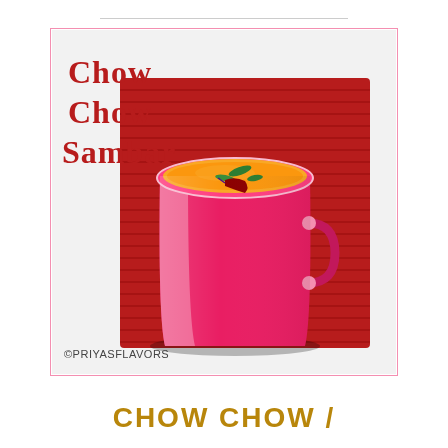[Figure (photo): A pink metal bucket filled with golden-orange sambar (Indian lentil soup) garnished with curry leaves and a dried red chili, placed on a ribbed red mat against a white background. Text overlay reads 'Chow Chow Sambar' and watermark '©PRIYASFLAVORS'.]
CHOW CHOW /